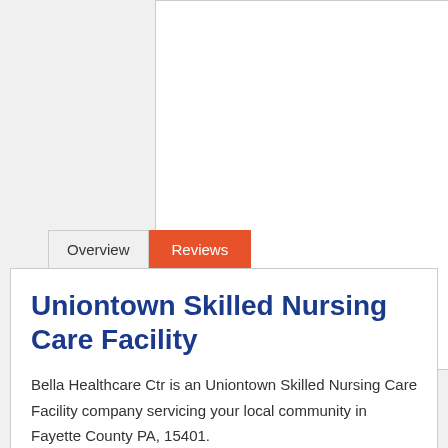[Figure (photo): White rectangular image placeholder area with light border]
Overview
Reviews
Uniontown Skilled Nursing Care Facility
Bella Healthcare Ctr is an Uniontown Skilled Nursing Care Facility company servicing your local community in Fayette County PA, 15401.